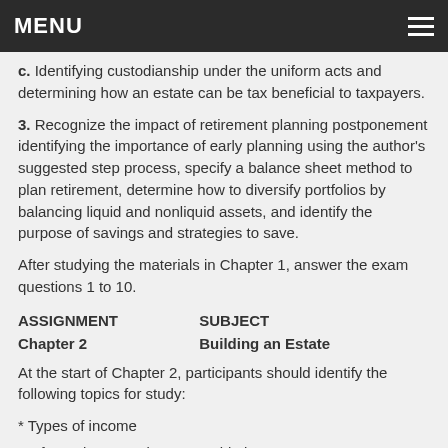MENU
c. Identifying custodianship under the uniform acts and determining how an estate can be tax beneficial to taxpayers.
3. Recognize the impact of retirement planning postponement identifying the importance of early planning using the author's suggested step process, specify a balance sheet method to plan retirement, determine how to diversify portfolios by balancing liquid and nonliquid assets, and identify the purpose of savings and strategies to save.
After studying the materials in Chapter 1, answer the exam questions 1 to 10.
| ASSIGNMENT | SUBJECT |
| --- | --- |
| Chapter 2 | Building an Estate |
At the start of Chapter 2, participants should identify the following topics for study:
* Types of income
* Information reporting on taxable income